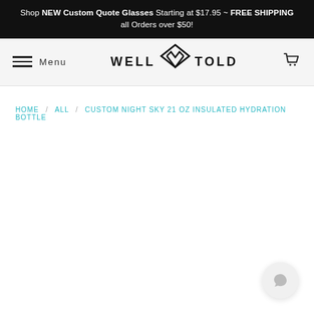Shop NEW Custom Quote Glasses Starting at $17.95 ~ FREE SHIPPING all Orders over $50!
[Figure (logo): Well Told brand logo with hamburger menu and cart icon in a navigation bar]
HOME / ALL / CUSTOM NIGHT SKY 21 OZ INSULATED HYDRATION BOTTLE